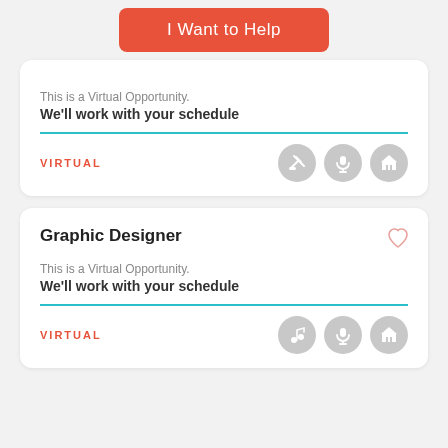I Want to Help
This is a Virtual Opportunity. We'll work with your schedule
VIRTUAL
Graphic Designer
This is a Virtual Opportunity. We'll work with your schedule
VIRTUAL